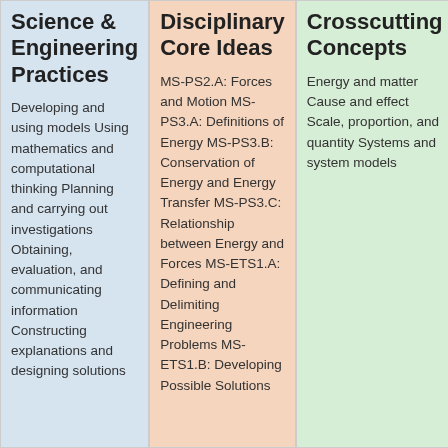Science & Engineering Practices
Developing and using models Using mathematics and computational thinking Planning and carrying out investigations Obtaining, evaluation, and communicating information Constructing explanations and designing solutions
Disciplinary Core Ideas
MS-PS2.A: Forces and Motion MS-PS3.A: Definitions of Energy MS-PS3.B: Conservation of Energy and Energy Transfer MS-PS3.C: Relationship between Energy and Forces MS-ETS1.A: Defining and Delimiting Engineering Problems MS-ETS1.B: Developing Possible Solutions
Crosscutting Concepts
Energy and matter Cause and effect Scale, proportion, and quantity Systems and system models